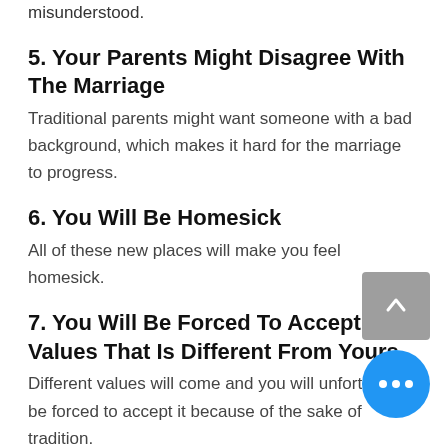No matter the love, you will still feel misunderstood.
5. Your Parents Might Disagree With The Marriage
Traditional parents might want someone with a bad background, which makes it hard for the marriage to progress.
6. You Will Be Homesick
All of these new places will make you feel homesick.
7. You Will Be Forced To Accept Values That Is Different From Yours
Different values will come and you will unfortunately be forced to accept it because of the sake of tradition.
8. It Will Cost You A Lot Of